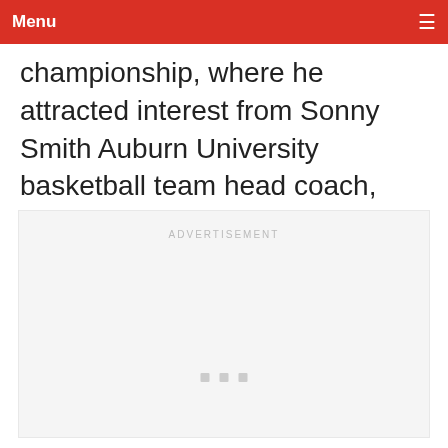Menu
championship, where he attracted interest from Sonny Smith Auburn University basketball team head coach, who recruited Barkley.
[Figure (other): Advertisement placeholder box with 'ADVERTISEMENT' label text and three small gray squares at the bottom center]